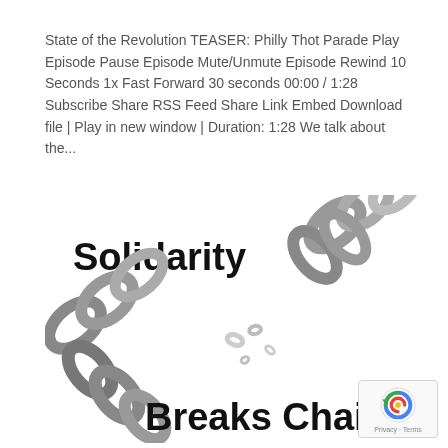State of the Revolution TEASER: Philly Thot Parade Play Episode Pause Episode Mute/Unmute Episode Rewind 10 Seconds 1x Fast Forward 30 seconds 00:00 / 1:28 Subscribe Share RSS Feed Share Link Embed Download file | Play in new window | Duration: 1:28 We talk about the...
[Figure (illustration): Black and white illustration of a metal chain breaking apart, with bold text 'Solidarity' in the upper left and 'Breaks Chain' in the lower right.]